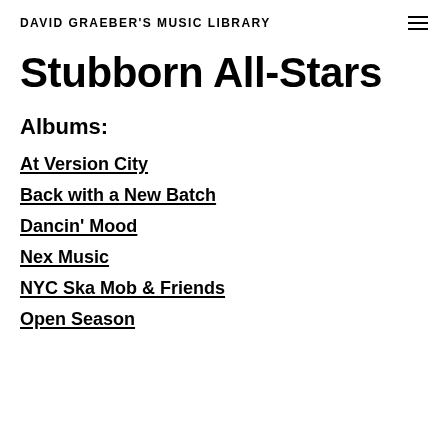DAVID GRAEBER'S MUSIC LIBRARY
Stubborn All-Stars
Albums:
At Version City
Back with a New Batch
Dancin' Mood
Nex Music
NYC Ska Mob & Friends
Open Season